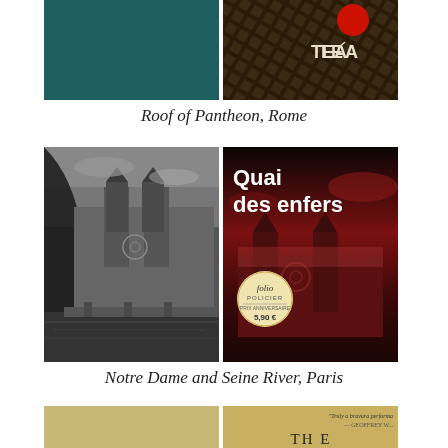[Figure (photo): Two images side by side: left is a dark teal/green cover, right is a dark book cover with geometric grid pattern and TEA logo with a red circle]
Roof of Pantheon, Rome
[Figure (photo): Two images side by side: left is a black and white photo of Notre Dame Cathedral and Seine River seen through an arch; right is the book cover 'Quai des enfers' from Folio Policier series, priced 5.90€, with red-toned Notre Dame image]
Notre Dame and Seine River, Paris
[Figure (photo): Two partially visible images at the bottom: left is a golden/beige colored cover, right shows a golden cover with italic quote 'Truly a bravura performa' attributed to GEOFFREY W...]